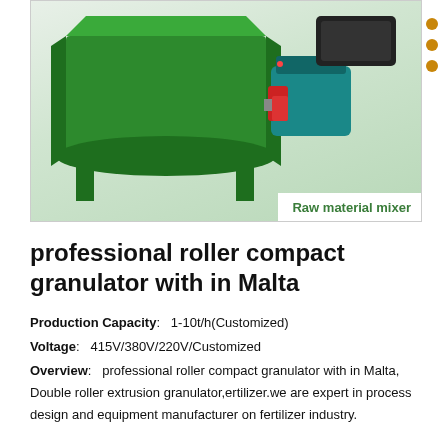[Figure (photo): Green industrial raw material mixer machine with motor on white background, label reads 'Raw material mixer' in green bold text at bottom right]
professional roller compact granulator with in Malta
Production Capacity: 1-10t/h(Customized)
Voltage: 415V/380V/220V/Customized
Overview: professional roller compact granulator with in Malta, Double roller extrusion granulator,ertilizer.we are expert in process design and equipment manufacturer on fertilizer industry.